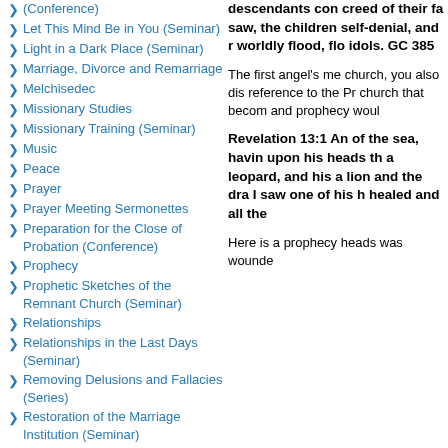(Conference)
Let This Mind Be in You (Seminar)
Light in a Dark Place (Seminar)
Marriage, Divorce and Remarriage
Melchisedec
Missionary Studies
Missionary Training (Seminar)
Music
Peace
Prayer
Prayer Meeting Sermonettes
Preparation for the Close of Probation (Conference)
Prophecy
Prophetic Sketches of the Remnant Church (Seminar)
Relationships
Relationships in the Last Days (Seminar)
Removing Delusions and Fallacies (Series)
Restoration of the Marriage Institution (Seminar)
Restoring Old Paths
Revelation
descendants con creed of their fa saw, the children self-denial, and r worldly flood, flo idols. GC 385
The first angel's me church, you also dis reference to the Pr church that becom and prophecy woul
Revelation 13:1 An of the sea, havin upon his heads th a leopard, and his a lion and the dra I saw one of his h healed and all the
Here is a prophecy heads was wounde